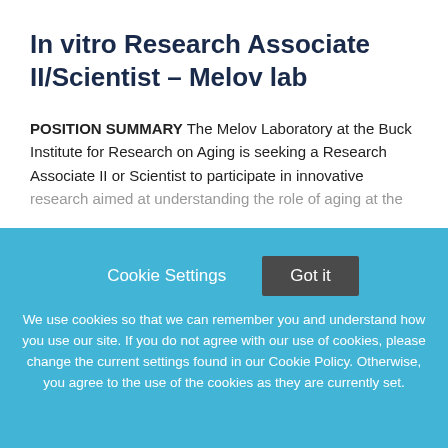In vitro Research Associate II/Scientist – Melov lab
POSITION SUMMARY The Melov Laboratory at the Buck Institute for Research on Aging is seeking a Research Associate II or Scientist to participate in innovative research aimed at understanding the role of aging at the
This job listing is no longer active.
Cookie Settings  Got it
We use cookies so that we can remember you and understand how you use our site. If you do not agree with our use of cookies, please change the current settings found in our Cookie Policy. Otherwise, you agree to the use of the cookies as they are currently set.